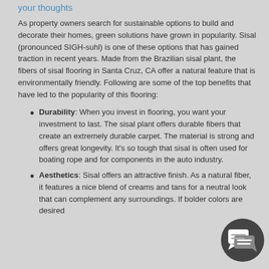your thoughts
As property owners search for sustainable options to build and decorate their homes, green solutions have grown in popularity. Sisal (pronounced SIGH-suhl) is one of these options that has gained traction in recent years. Made from the Brazilian sisal plant, the fibers of sisal flooring in Santa Cruz, CA offer a natural feature that is environmentally friendly. Following are some of the top benefits that have led to the popularity of this flooring:
Durability: When you invest in flooring, you want your investment to last. The sisal plant offers durable fibers that create an extremely durable carpet. The material is strong and offers great longevity. It's so tough that sisal is often used for boating rope and for components in the auto industry.
Aesthetics: Sisal offers an attractive finish. As a natural fiber, it features a nice blend of creams and tans for a neutral look that can complement any surroundings. If bolder colors are desired